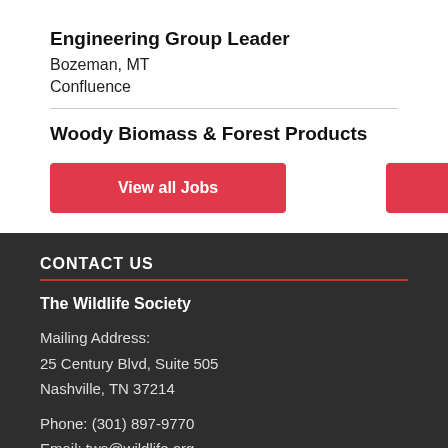Engineering Group Leader
Bozeman, MT
Confluence
Woody Biomass & Forest Products
View all Jobs
Post a Job
CONTACT US
The Wildlife Society
Mailing Address:
25 Century Blvd, Suite 505
Nashville, TN 37214
Phone: (301) 897-9770
Email: tws@wildlife.org